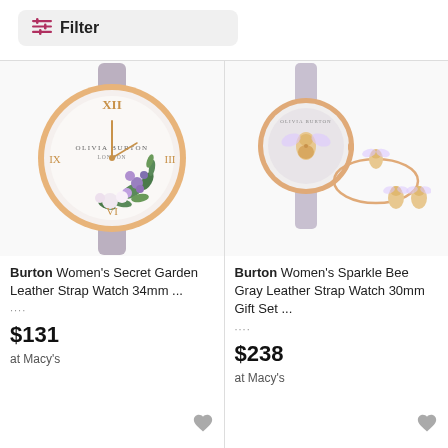Filter
[Figure (photo): Olivia Burton Women's Secret Garden Leather Strap Watch 34mm with floral dial and gray/blush leather strap, rose gold case]
Burton Women's Secret Garden Leather Strap Watch 34mm ...
$131
at Macy's
[Figure (photo): Olivia Burton Women's Sparkle Bee Gray Leather Strap Watch 30mm Gift Set with bee bracelet and bee earrings, rose gold]
Burton Women's Sparkle Bee Gray Leather Strap Watch 30mm Gift Set ...
$238
at Macy's